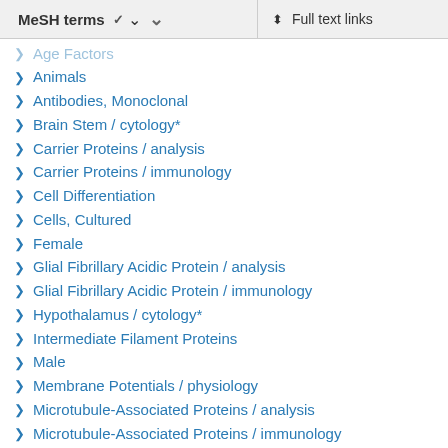MeSH terms  ∨  Full text links
Age Factors
Animals
Antibodies, Monoclonal
Brain Stem / cytology*
Carrier Proteins / analysis
Carrier Proteins / immunology
Cell Differentiation
Cells, Cultured
Female
Glial Fibrillary Acidic Protein / analysis
Glial Fibrillary Acidic Protein / immunology
Hypothalamus / cytology*
Intermediate Filament Proteins
Male
Membrane Potentials / physiology
Microtubule-Associated Proteins / analysis
Microtubule-Associated Proteins / immunology